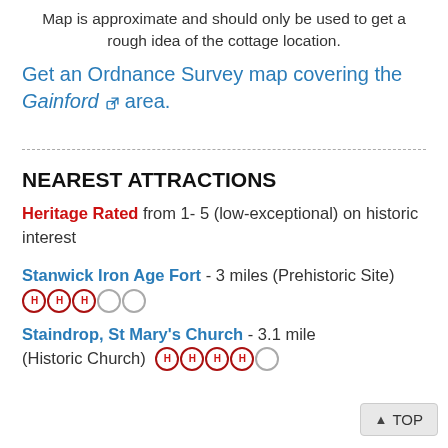Map is approximate and should only be used to get a rough idea of the cottage location.
Get an Ordnance Survey map covering the Gainford area.
NEAREST ATTRACTIONS
Heritage Rated from 1- 5 (low-exceptional) on historic interest
Stanwick Iron Age Fort - 3 miles (Prehistoric Site) HHH○○
Staindrop, St Mary's Church - 3.1 miles (Historic Church) HHHH○